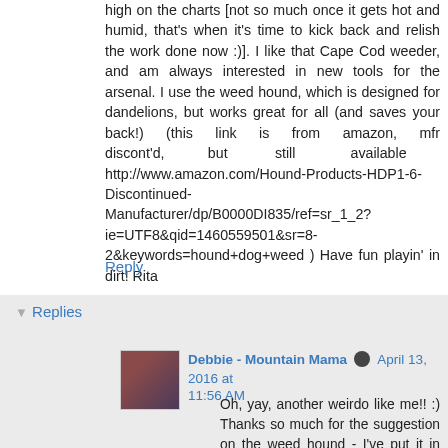high on the charts [not so much once it gets hot and humid, that's when it's time to kick back and relish the work done now :)]. I like that Cape Cod weeder, and am always interested in new tools for the arsenal. I use the weed hound, which is designed for dandelions, but works great for all (and saves your back!) (this link is from amazon, mfr discont'd, but still available : http://www.amazon.com/Hound-Products-HDP1-6-Discontinued-Manufacturer/dp/B0000DI835/ref=sr_1_2?ie=UTF8&qid=1460559501&sr=8-2&keywords=hound+dog+weed ) Have fun playin' in dirt! Rita
Reply
Replies
Debbie - Mountain Mama  April 13, 2016 at 11:56 AM
Oh, yay, another weirdo like me!! :) Thanks so much for the suggestion on the weed hound - I've put it in my Amazon cart, right next to the back massage Brenda recommended!! :)